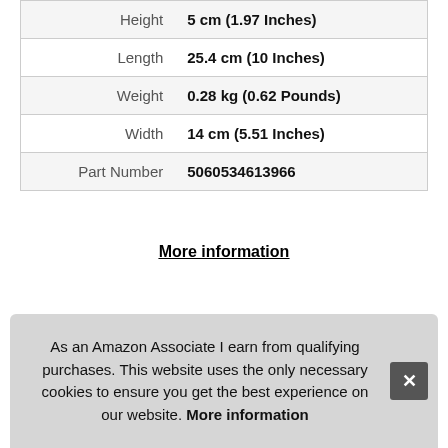| Attribute | Value |
| --- | --- |
| Height | 5 cm (1.97 Inches) |
| Length | 25.4 cm (10 Inches) |
| Weight | 0.28 kg (0.62 Pounds) |
| Width | 14 cm (5.51 Inches) |
| Part Number | 5060534613966 |
More information
5. Danielle Nicole
As an Amazon Associate I earn from qualifying purchases. This website uses the only necessary cookies to ensure you get the best experience on our website. More information